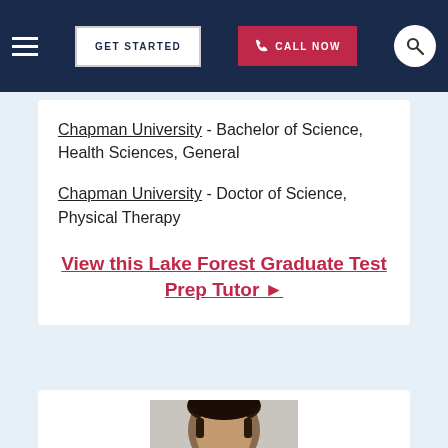GET STARTED | CALL NOW
Chapman University - Bachelor of Science, Health Sciences, General
Chapman University - Doctor of Science, Physical Therapy
View this Lake Forest Graduate Test Prep Tutor ▶
[Figure (photo): Portrait photo of a male tutor with dark hair, shown from shoulders up against a light background]